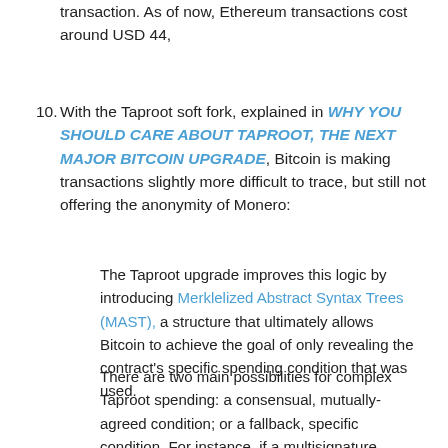transaction. As of now, Ethereum transactions cost around USD 44,
10. With the Taproot soft fork, explained in WHY YOU SHOULD CARE ABOUT TAPROOT, THE NEXT MAJOR BITCOIN UPGRADE, Bitcoin is making transactions slightly more difficult to trace, but still not offering the anonymity of Monero:
The Taproot upgrade improves this logic by introducing Merklelized Abstract Syntax Trees (MAST), a structure that ultimately allows Bitcoin to achieve the goal of only revealing the contract's specific spending condition that was used.
There are two main possibilities for complex Taproot spending: a consensual, mutually-agreed condition; or a fallback, specific condition. For instance, if a multisignature address owned by multiple people wants to spend some funds programmatically, they could set up one spending condition in